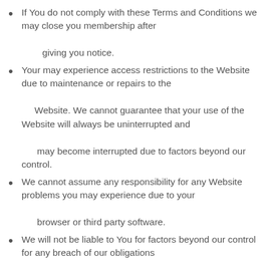If You do not comply with these Terms and Conditions we may close you membership after giving you notice.
Your may experience access restrictions to the Website due to maintenance or repairs to the Website. We cannot guarantee that your use of the Website will always be uninterrupted and may become interrupted due to factors beyond our control.
We cannot assume any responsibility for any Website problems you may experience due to your browser or third party software.
We will not be liable to You for factors beyond our control for any breach of our obligations